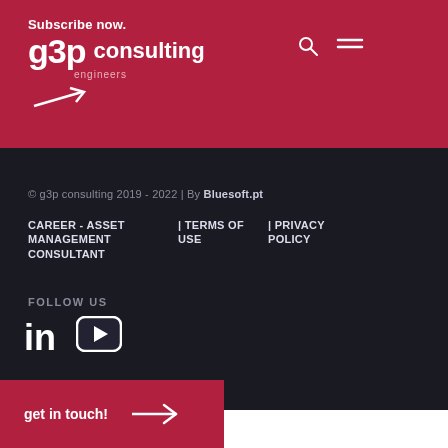Subscribe now. g3p consulting engineers
© g3p consulting 2019 - 2022 | By Bluesoft.pt
CAREER - ASSET MANAGEMENT CONSULTANT | TERMS OF USE | PRIVACY POLICY
FOLLOW US
[Figure (logo): LinkedIn and YouTube social media icons]
get in touch! →